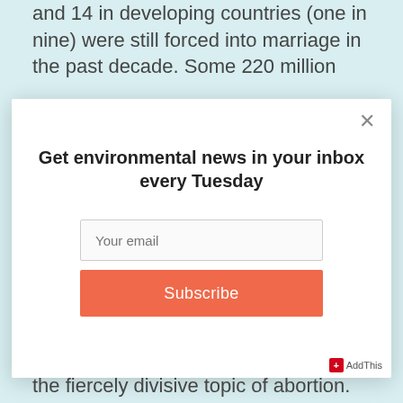and 14 in developing countries (one in nine) were still forced into marriage in the past decade. Some 220 million
[Figure (screenshot): Modal popup dialog with title 'Get environmental news in your inbox every Tuesday', an email input field with placeholder 'Your email', and a coral/orange 'Subscribe' button. Has an X close button in the top right corner.]
the fiercely divisive topic of abortion.